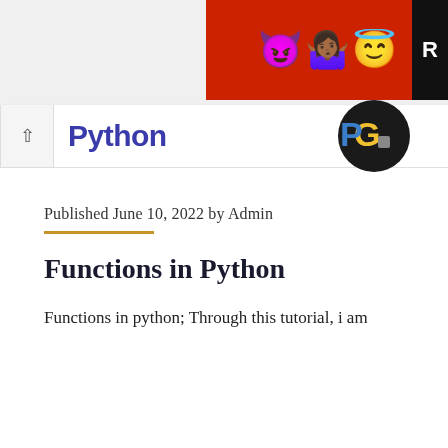[Figure (illustration): Advertisement banner with emoji characters (devil, person with hands up, angel emoji) on red background, with black 'R' block on far right]
Python
[Figure (logo): Python logo - dark circular background with colorful GP or Python logo emblem]
Published June 10, 2022 by Admin
Functions in Python
Functions in python; Through this tutorial, i am